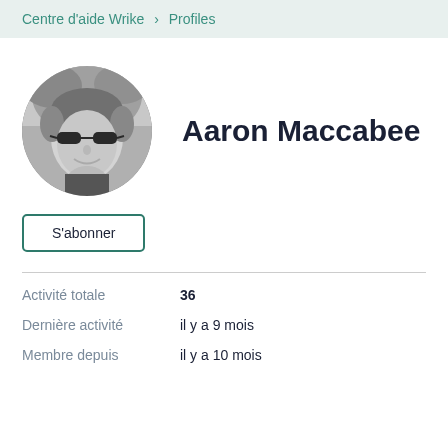Centre d'aide Wrike > Profiles
[Figure (photo): Black and white circular profile photo of Aaron Maccabee wearing sunglasses, smiling]
Aaron Maccabee
S'abonner
Activité totale   36
Dernière activité   il y a 9 mois
Membre depuis   il y a 10 mois